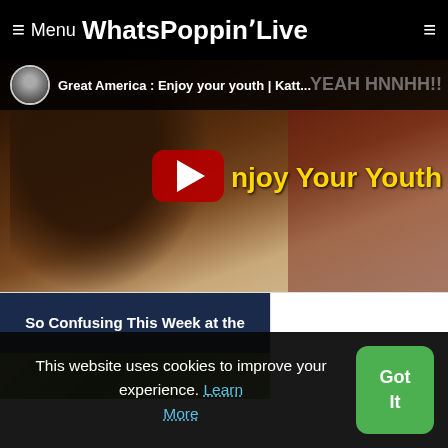≡ Menu WhatsPoppinLive
[Figure (screenshot): YouTube video thumbnail showing 'Great America : Enjoy your youth | Katt...' with a man in a patterned jacket, red YouTube play button, yellow text reading 'Enjoy Your Youth', and watermark text 'YEAH HNNHH!!']
So Confusing This Week at the
[Figure (photo): Partial image showing green/brown tones, bottom of page]
This website uses cookies to improve your experience. Learn More
Got It